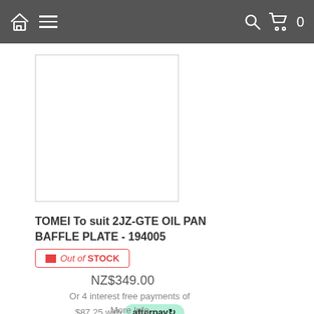Navigation bar with home icon, hamburger menu, search icon, cart icon, 0
[Figure (photo): Empty white product image placeholder with light gray border]
TOMEI To suit 2JZ-GTE OIL PAN BAFFLE PLATE - 194005
Out of STOCK
NZ$349.00
Or 4 interest free payments of $87.25 with afterpay More Info